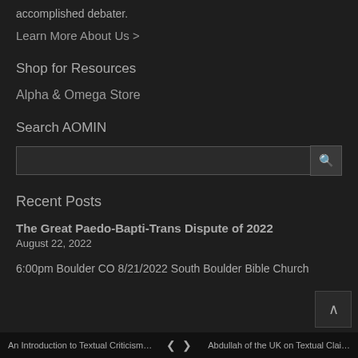accomplished debater.
Learn More About Us >
Shop for Resources
Alpha & Omega Store
Search AOMIN
Recent Posts
The Great Paedo-Bapti-Trans Dispute of 2022
August 22, 2022
6:00pm Boulder CO 8/21/2022 South Boulder Bible Church
An Introduction to Textual Criticism…   <   >   Abdullah of the UK on Textual Clai…